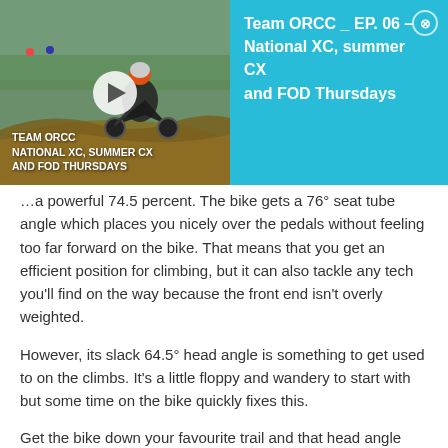[Figure (screenshot): Video thumbnail showing a mountain bike rider on a dirt trail. Left side shows the video thumbnail with play button and overlay text 'TEAM ORCC NATIONAL XC, SUMMER CX AND FOD THURSDAYS'. Right side shows a cyan/turquoise info panel with text 'Team ORCC _ EP. 06 – National XC, summer CX and FOD Thursdays' and a close button.]
…a powerful 74.5 percent. The bike gets a 76° seat tube angle which places you nicely over the pedals without feeling too far forward on the bike. That means that you get an efficient position for climbing, but it can also tackle any tech you'll find on the way because the front end isn't overly weighted.
However, its slack 64.5° head angle is something to get used to on the climbs. It's a little floppy and wandery to start with but some time on the bike quickly fixes this.
Get the bike down your favourite trail and that head angle makes much more sense. Not only does it shift the front wheel further in front of you, filling you with confidence as